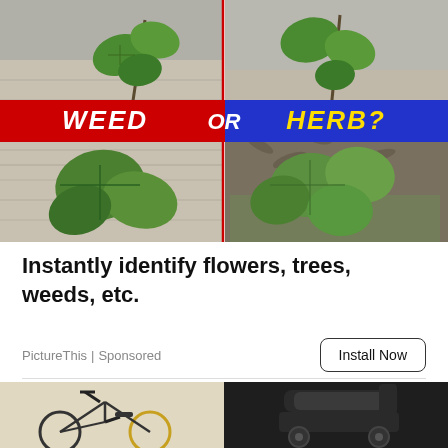[Figure (photo): Split image showing four quadrants of plants/weeds growing from cracks in concrete and soil. A horizontal banner across the middle reads 'WEED OR HERB?' — 'WEED' on red background on the left, 'OR' in center, 'HERB?' on blue background on the right. A vertical red/blue line divides the image.]
Instantly identify flowers, trees, weeds, etc.
PictureThis | Sponsored
[Figure (photo): Partial view of two images side by side at bottom: left shows a yellow bicycle, right shows a black mobility scooter/device.]